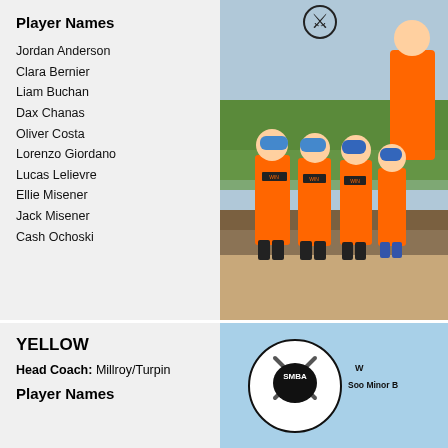Player Names
Jordan Anderson
Clara Bernier
Liam Buchan
Dax Chanas
Oliver Costa
Lorenzo Giordano
Lucas Lelievre
Ellie Misener
Jack Misener
Cash Ochoski
[Figure (photo): Youth baseball team photo with children in orange WINMAN jerseys and a coach on an outdoor baseball field]
YELLOW
Head Coach: Millroy/Turpin
Player Names
[Figure (logo): SMBA Soo Minor Baseball logo with crossed bats on light blue background, text reads Soo Minor B...]